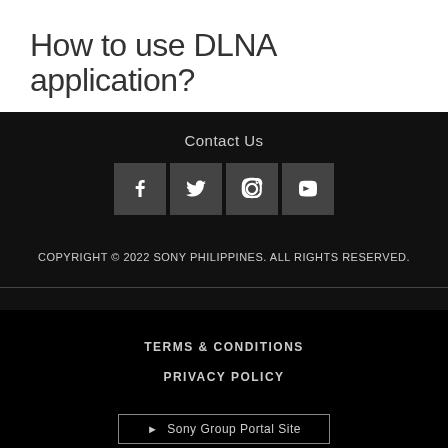How to use DLNA application?
Contact Us
[Figure (other): Social media icons: Facebook, Twitter, Instagram, YouTube]
COPYRIGHT © 2022 SONY PHILIPPINES. ALL RIGHTS RESERVED.
TERMS & CONDITIONS
PRIVACY POLICY
► Sony Group Portal Site